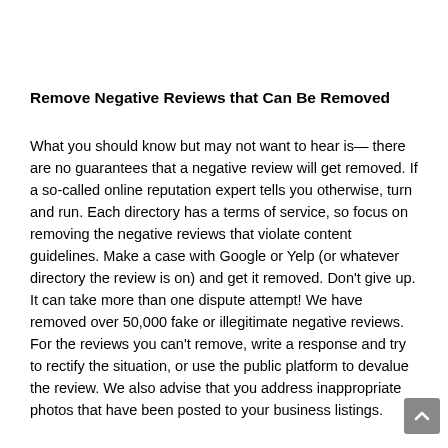Remove Negative Reviews that Can Be Removed
What you should know but may not want to hear is— there are no guarantees that a negative review will get removed. If a so-called online reputation expert tells you otherwise, turn and run. Each directory has a terms of service, so focus on removing the negative reviews that violate content guidelines. Make a case with Google or Yelp (or whatever directory the review is on) and get it removed. Don't give up. It can take more than one dispute attempt! We have removed over 50,000 fake or illegitimate negative reviews. For the reviews you can't remove, write a response and try to rectify the situation, or use the public platform to devalue the review. We also advise that you address inappropriate photos that have been posted to your business listings.